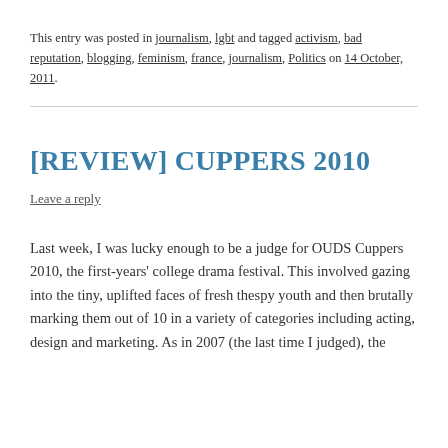This entry was posted in journalism, lgbt and tagged activism, bad reputation, blogging, feminism, france, journalism, Politics on 14 October, 2011.
[REVIEW] CUPPERS 2010
Leave a reply
Last week, I was lucky enough to be a judge for OUDS Cuppers 2010, the first-years' college drama festival. This involved gazing into the tiny, uplifted faces of fresh thespy youth and then brutally marking them out of 10 in a variety of categories including acting, design and marketing. As in 2007 (the last time I judged), the